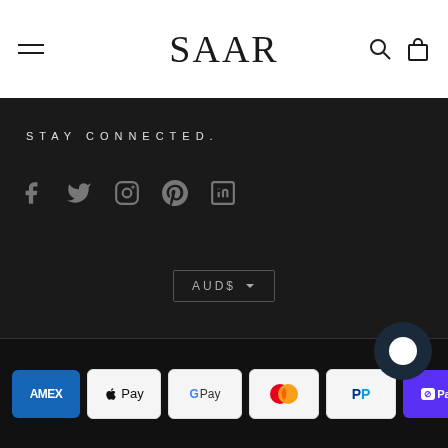SAAR
STAY CONNECTED.
[Figure (illustration): Social media icons: Facebook, Twitter, Instagram, Pinterest, LinkedIn]
AUD$
[Figure (illustration): Payment method logos: American Express, Apple Pay, Google Pay, Mastercard, PayPal, Shop Pay, Visa, and more]